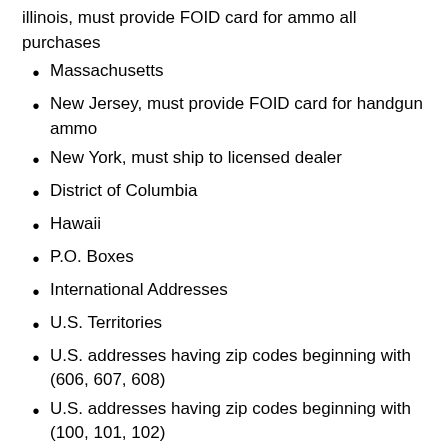illinois, must provide FOID card for ammo all purchases
Massachusetts
New Jersey, must provide FOID card for handgun ammo
New York, must ship to licensed dealer
District of Columbia
Hawaii
P.O. Boxes
International Addresses
U.S. Territories
U.S. addresses having zip codes beginning with (606, 607, 608)
U.S. addresses having zip codes beginning with (100, 101, 102)
Illinois residents must provide a copy of your valid FOID card and driver's license to purchase ammunition. This information will be used to